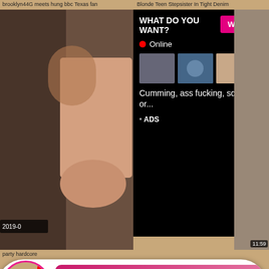brooklyn44G meets hung bbc Texas fan
Blonde Teen Stepsister In Tight Denim
[Figure (screenshot): Adult video thumbnail - woman on left side]
[Figure (screenshot): Ad overlay - black background with WHAT DO YOU WANT? text, WATCH button, Online indicator, thumbnail images, Cumming ass fucking squirt or... text, ADS label, close X]
[Figure (screenshot): Adult video thumbnail right side with timestamp 11:59]
party hardcore
[Figure (screenshot): Notification popup - circular avatar with LIVE badge, notification 1, ADS label, Jeniffer 2000, (00:12) time]
[Figure (screenshot): Adult video thumbnail - Kink Stripper, date 2021-03-02, duration 1:11:57]
[Figure (screenshot): Adult video thumbnail - Sweet Mai Shimizu, date 2019-04-15, duration 24:13]
Kink - Stripper fucked in a gangbang
Sweet Mai Shimizu is having sex during
[Figure (screenshot): Adult video thumbnail bottom left - HPIE IN ASIA watermark]
[Figure (screenshot): Adult video thumbnail bottom right]